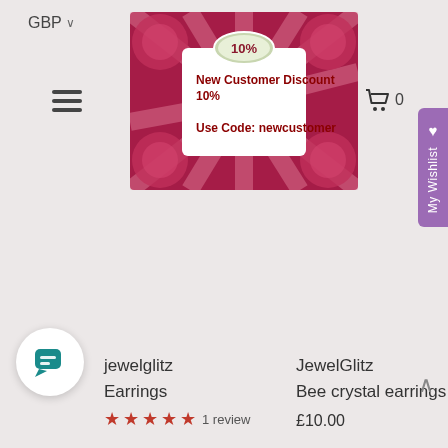GBP ∨
[Figure (screenshot): Hamburger menu icon (three horizontal lines)]
[Figure (infographic): Promotional banner: 10% New Customer Discount, Use Code: newcustomer — red/pink decorative background with white center panel]
[Figure (screenshot): Shopping cart icon with count 0]
[Figure (infographic): My Wishlist tab (purple vertical tab on right edge with heart icon)]
[Figure (screenshot): Chat button icon (teal speech bubble on white circle)]
jewelglitz
Earrings
JewelGlitz
Bee crystal earrings
1 review
£10.00